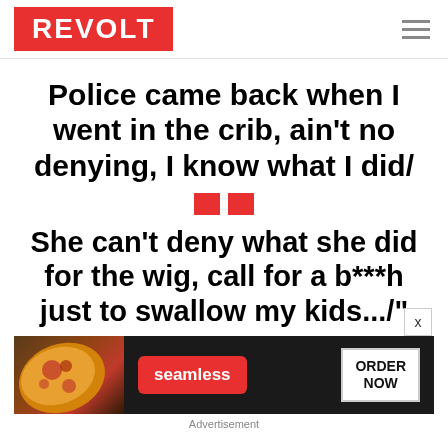REVOLT
Police came back when I went in the crib, ain't no denying, I know what I did/
[Figure (other): Two small red square decorative divider blocks]
She can't deny what she did for the wig, call for a b***h just to swallow my kids.../"
[Figure (other): Seamless food delivery advertisement showing pizza image, seamless logo button, and ORDER NOW button]
Advertisement